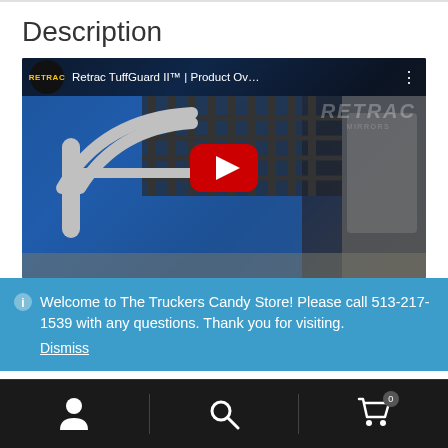Description
[Figure (screenshot): YouTube video embed thumbnail showing a Retrac TuffGuard II product overview video. The thumbnail shows a blue truck with chrome bullbar/grille guard. The video top bar shows the Retrac logo (black circle with yellow text) and title 'Retrac TuffGuard II™ | Product Ov...' with a YouTube play button (red rectangle with white triangle) centered on the image.]
Welcome to The Truckers Candy Store! Please call 513-217-1539 with any questions. Thank you for visiting.
Dismiss